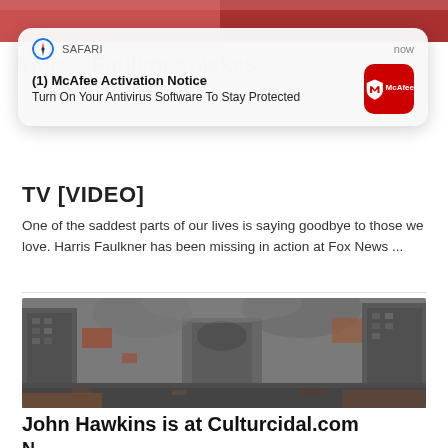[Figure (screenshot): Top portion of a webpage showing a person in red/pink clothing, cropped at top of page]
[Figure (screenshot): Safari browser push notification card: '(1) McAfee Activation Notice - Turn On Your Antivirus Software To Stay Protected' with McAfee red icon, timestamp 'now']
TV [VIDEO]
One of the saddest parts of our lives is saying goodbye to those we love. Harris Faulkner has been missing in action at Fox News ...
[Figure (photo): Apocalyptic illustration of a city street with destroyed buildings, smoke, fire and debris]
John Hawkins is at Culturcidal.com N...